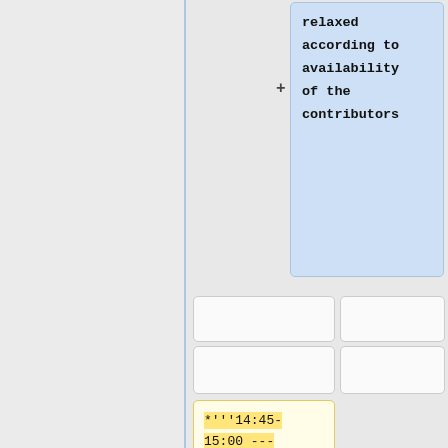relaxed according to availability of the contributors
*'''14:45-15:00 --- Break 15min ...'''
==15:00-16:00 Glossary work item ==
==15:00-16:00 Glossary work item ==